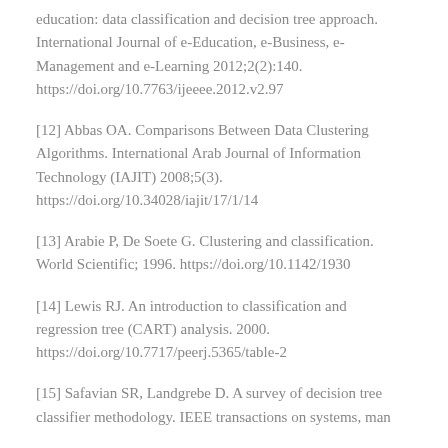education: data classification and decision tree approach. International Journal of e-Education, e-Business, e-Management and e-Learning 2012;2(2):140. https://doi.org/10.7763/ijeeee.2012.v2.97
[12] Abbas OA. Comparisons Between Data Clustering Algorithms. International Arab Journal of Information Technology (IAJIT) 2008;5(3). https://doi.org/10.34028/iajit/17/1/14
[13] Arabie P, De Soete G. Clustering and classification. World Scientific; 1996. https://doi.org/10.1142/1930
[14] Lewis RJ. An introduction to classification and regression tree (CART) analysis. 2000. https://doi.org/10.7717/peerj.5365/table-2
[15] Safavian SR, Landgrebe D. A survey of decision tree classifier methodology. IEEE transactions on systems, man